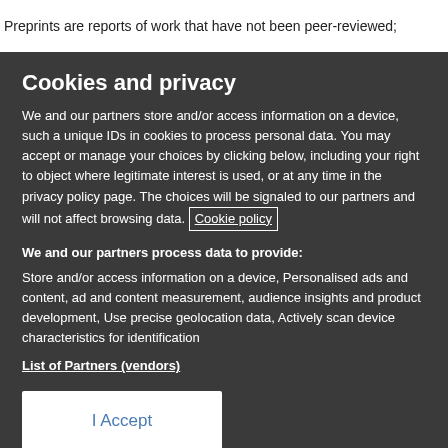Preprints are reports of work that have not been peer-reviewed;
Cookies and privacy
We and our partners store and/or access information on a device, such a unique IDs in cookies to process personal data. You may accept or manage your choices by clicking below, including your right to object where legitimate interest is used, or at any time in the privacy policy page. These choices will be signaled to our partners and will not affect browsing data. Cookie policy
We and our partners process data to provide:
Store and/or access information on a device, Personalised ads and content, ad and content measurement, audience insights and product development, Use precise geolocation data, Actively scan device characteristics for identification
List of Partners (vendors)
I Accept
Show Purposes